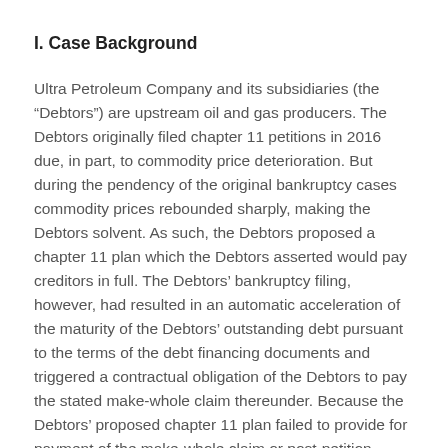I. Case Background
Ultra Petroleum Company and its subsidiaries (the “Debtors”) are upstream oil and gas producers. The Debtors originally filed chapter 11 petitions in 2016 due, in part, to commodity price deterioration. But during the pendency of the original bankruptcy cases commodity prices rebounded sharply, making the Debtors solvent. As such, the Debtors proposed a chapter 11 plan which the Debtors asserted would pay creditors in full. The Debtors’ bankruptcy filing, however, had resulted in an automatic acceleration of the maturity of the Debtors’ outstanding debt pursuant to the terms of the debt financing documents and triggered a contractual obligation of the Debtors to pay the stated make-whole claim thereunder. Because the Debtors’ proposed chapter 11 plan failed to provide for payment of the make-whole claim or post-petition interest at the contractual default rate, the creditors